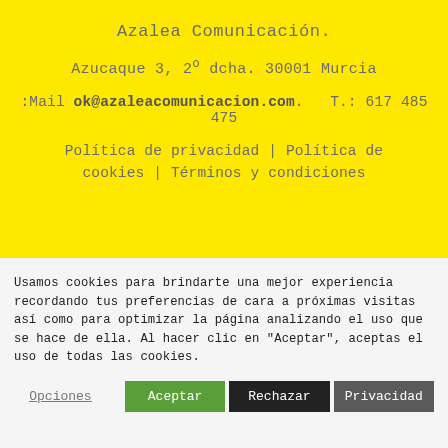Azalea Comunicación.
Azucaque 3, 2º dcha. 30001 Murcia
:Mail ok@azaleacomunicacion.com.  T.: 617 485 475
Política de privacidad | Política de cookies | Términos y condiciones
Usamos cookies para brindarte una mejor experiencia recordando tus preferencias de cara a próximas visitas así como para optimizar la página analizando el uso que se hace de ella. Al hacer clic en "Aceptar", aceptas el uso de todas las cookies.
Opciones  Aceptar  Rechazar  Privacidad